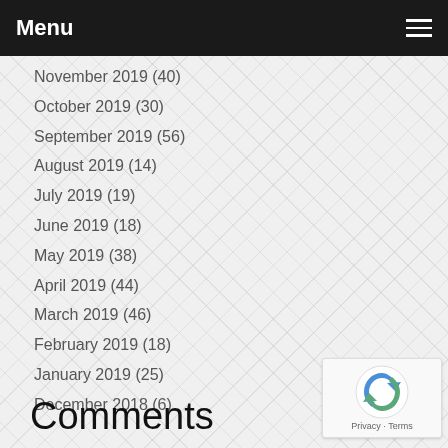Menu
November 2019 (40)
October 2019 (30)
September 2019 (56)
August 2019 (14)
July 2019 (19)
June 2019 (18)
May 2019 (38)
April 2019 (44)
March 2019 (46)
February 2019 (18)
January 2019 (25)
December 2018 (6)
Comments